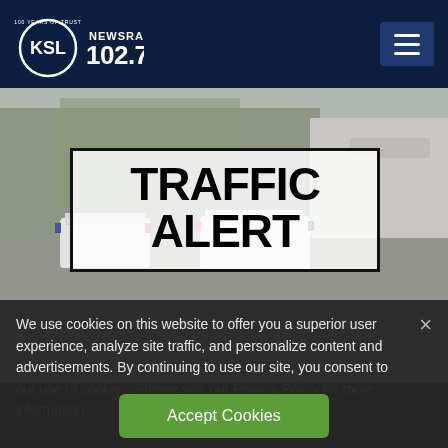KSL NewsRadio 102.7FM
[Figure (photo): Street scene with police vehicles parked outside a building, trees visible in background. Overlaid with a 'TRAFFIC ALERT' text box.]
We use cookies on this website to offer you a superior user experience, analyze site traffic, and personalize content and advertisements. By continuing to use our site, you consent to our use of cookies. Please visit our Privacy Policy for more information.
Accept Cookies